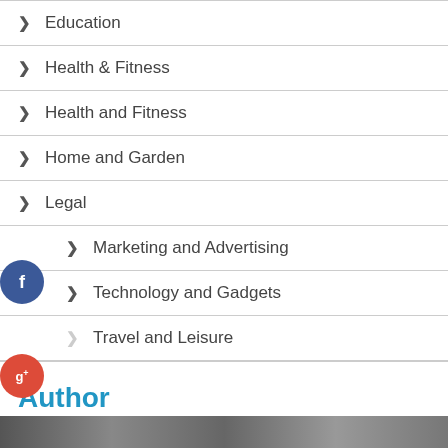Education
Health & Fitness
Health and Fitness
Home and Garden
Legal
Marketing and Advertising
Technology and Gadgets
Travel and Leisure
Author
[Figure (photo): Author photo strip at bottom of page]